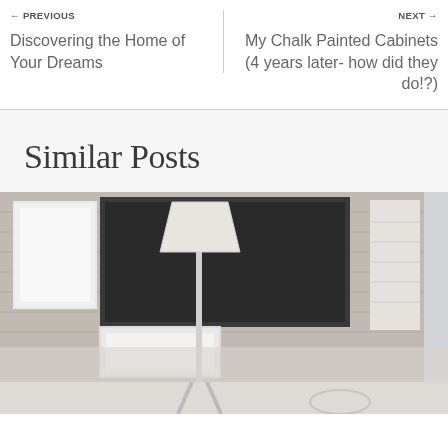← PREVIOUS
Discovering the Home of Your Dreams
NEXT →
My Chalk Painted Cabinets (4 years later- how did they do!?)
Similar Posts
[Figure (photo): Outdoor home exterior photo showing siding, a lamp, framed artwork, shutters and window, partially cut off at bottom]